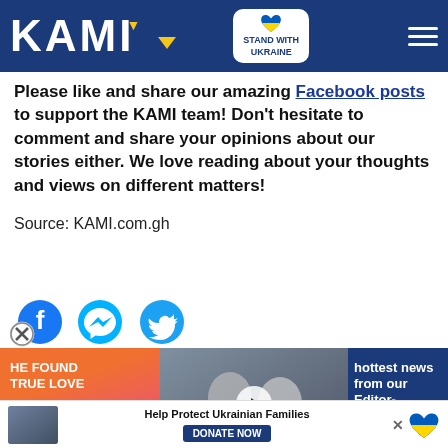KAMI — Stand with Ukraine
Please like and share our amazing Facebook posts to support the KAMI team! Don't hesitate to comment and share your opinions about our stories either. We love reading about your thoughts and views on different matters!
Source: KAMI.com.gh
[Figure (infographic): Social share icons: Facebook (with X overlay), Messenger, Twitter]
[Figure (infographic): Ad: He Found True Love at 60 with couple photo, play button]
[Figure (infographic): Editor bar: hottest news from our Editor- with SIGN UP button]
[Figure (infographic): Bottom ad bar: Help Protect Ukrainian Families - DONATE NOW with Ukraine heart icon]